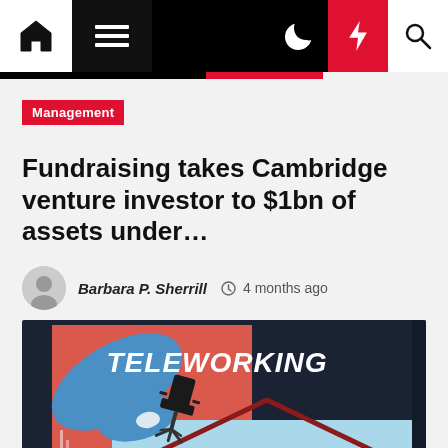Navigation bar with home, menu, dark mode, flash, and search icons
Management
Fundraising takes Cambridge venture investor to $1bn of assets under...
Barbara P. Sherrill  4 months ago
[Figure (illustration): Teleworking illustration: a large blue hand holding a small office chair with the text TELEWORKING in bold white letters on a dark navy/coral background, with a house outline beneath]